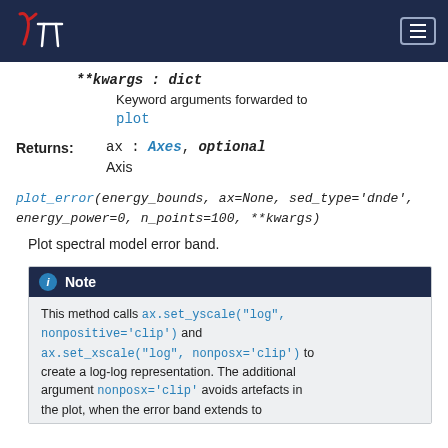γπ [logo] [navigation]
**kwargs : dict
Keyword arguments forwarded to plot
Returns: ax : Axes, optional
Axis
plot_error(energy_bounds, ax=None, sed_type='dnde', energy_power=0, n_points=100, **kwargs)
Plot spectral model error band.
Note
This method calls ax.set_yscale("log", nonpositive='clip') and ax.set_xscale("log", nonposx='clip') to create a log-log representation. The additional argument nonposx='clip' avoids artefacts in the plot, when the error band extends to